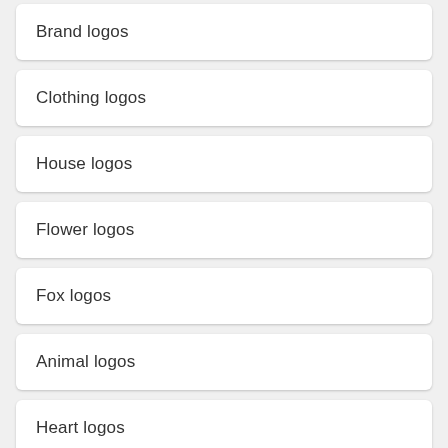Brand logos
Clothing logos
House logos
Flower logos
Fox logos
Animal logos
Heart logos